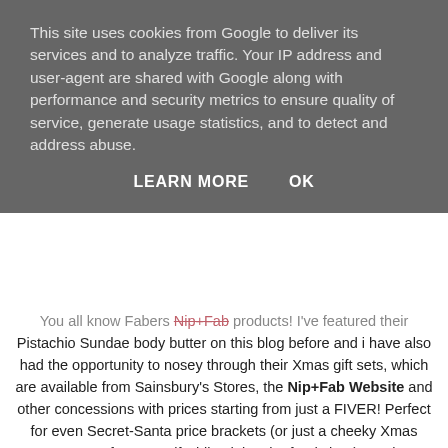This site uses cookies from Google to deliver its services and to analyze traffic. Your IP address and user-agent are shared with Google along with performance and security metrics to ensure quality of service, generate usage statistics, and to detect and address abuse.
LEARN MORE   OK
You all know Fabers Nip+Fab products! I've featured their Pistachio Sundae body butter on this blog before and i have also had the opportunity to nosey through their Xmas gift sets, which are available from Sainsbury's Stores, the Nip+Fab Website and other concessions with prices starting from just a FIVER! Perfect for even Secret-Santa price brackets (or just a cheeky Xmas pamper treat for yourself whilst doing the food shop). I've been using the Hand Fix kit which includes a Hand Cream (which has the same yummy pistachio scent as the body butter) and a cuticle cream as well as some rather fetching gloves to help it all sink in. I've really been enjoying using it!
Other sets from the range include Party Rescue, Chill-Out Bathing, Facial on The Go and loads more! Also their body butters and lip balms make great stocking fillers!!